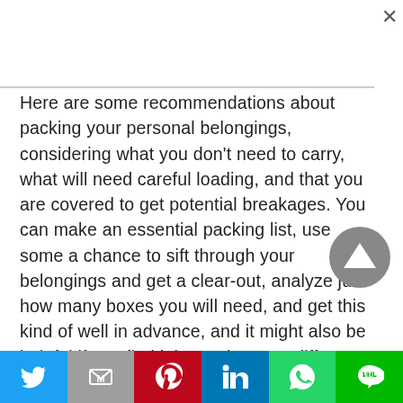Here are some recommendations about packing your personal belongings, considering what you don't need to carry, what will need careful loading, and that you are covered to get potential breakages. You can make an essential packing list, use some a chance to sift through your belongings and get a clear-out, analyze just how many boxes you will need, and get this kind of well in advance, and it might also be helpful if you find it boxes in many different sizes.
[Figure (other): Social sharing bar with icons for Twitter, Gmail, Pinterest, LinkedIn, WhatsApp, and LINE]